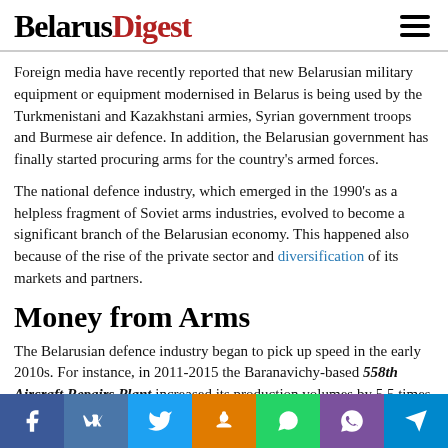BelarusDigest
Foreign media have recently reported that new Belarusian military equipment or equipment modernised in Belarus is being used by the Turkmenistani and Kazakhstani armies, Syrian government troops and Burmese air defence. In addition, the Belarusian government has finally started procuring arms for the country's armed forces.
The national defence industry, which emerged in the 1990's as a helpless fragment of Soviet arms industries, evolved to become a significant branch of the Belarusian economy. This happened also because of the rise of the private sector and diversification of its markets and partners.
Money from Arms
The Belarusian defence industry began to pick up speed in the early 2010s. For instance, in 2011-2015 the Baranavichy-based 558th Aircraft Repairs Plant increased its production volumes by 5.5 times while its personnel